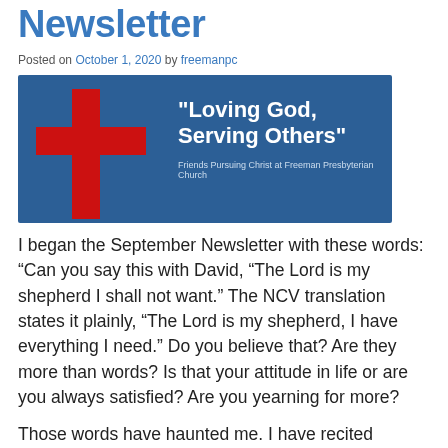Newsletter
Posted on October 1, 2020 by freemanpc
[Figure (illustration): Church banner with red cross on blue background. Text reads: "Loving God, Serving Others" Friends Pursuing Christ at Freeman Presbyterian Church]
I began the September Newsletter with these words: “Can you say this with David, “The Lord is my shepherd I shall not want.” The NCV translation states it plainly, “The Lord is my shepherd, I have everything I need.” Do you believe that? Are they more than words? Is that your attitude in life or are you always satisfied? Are you yearning for more?
Those words have haunted me. I have recited